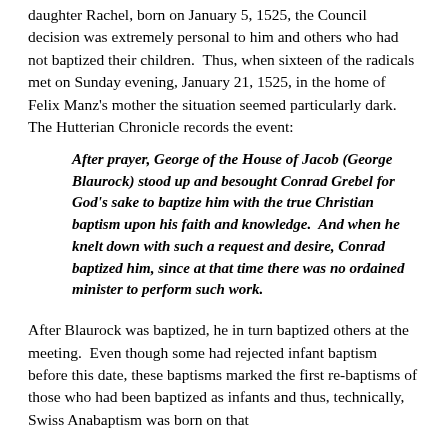daughter Rachel, born on January 5, 1525, the Council decision was extremely personal to him and others who had not baptized their children.  Thus, when sixteen of the radicals met on Sunday evening, January 21, 1525, in the home of Felix Manz's mother the situation seemed particularly dark.  The Hutterian Chronicle records the event:
After prayer, George of the House of Jacob (George Blaurock) stood up and besought Conrad Grebel for God's sake to baptize him with the true Christian baptism upon his faith and knowledge.  And when he knelt down with such a request and desire, Conrad baptized him, since at that time there was no ordained minister to perform such work.
After Blaurock was baptized, he in turn baptized others at the meeting.  Even though some had rejected infant baptism before this date, these baptisms marked the first re-baptisms of those who had been baptized as infants and thus, technically, Swiss Anabaptism was born on that